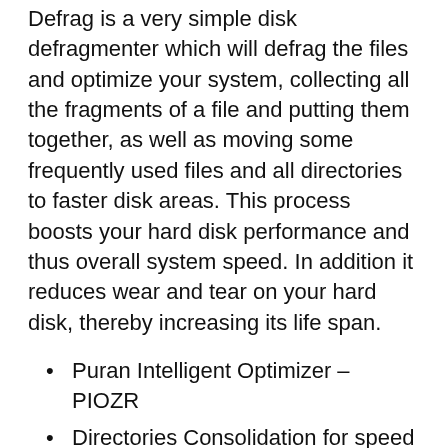Defrag is a very simple disk defragmenter which will defrag the files and optimize your system, collecting all the fragments of a file and putting them together, as well as moving some frequently used files and all directories to faster disk areas. This process boosts your hard disk performance and thus overall system speed. In addition it reduces wear and tear on your hard disk, thereby increasing its life span.
Puran Intelligent Optimizer – PIOZR
Directories Consolidation for speed boost
Boot Time Defragmentation for system files like MFT